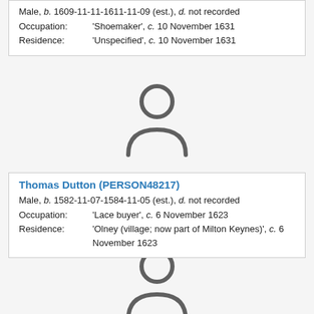| Male, b. 1609-11-11-1611-11-09 (est.), d. not recorded |
| Occupation: | 'Shoemaker', c. 10 November 1631 |
| Residence: | 'Unspecified', c. 10 November 1631 |
[Figure (illustration): Generic person silhouette icon (gray outline of head and shoulders)]
| Thomas Dutton (PERSON48217) |
| Male, b. 1582-11-07-1584-11-05 (est.), d. not recorded |
| Occupation: | 'Lace buyer', c. 6 November 1623 |
| Residence: | 'Olney (village; now part of Milton Keynes)', c. 6 November 1623 |
[Figure (illustration): Generic person silhouette icon (gray outline of head and shoulders), partially visible at bottom]